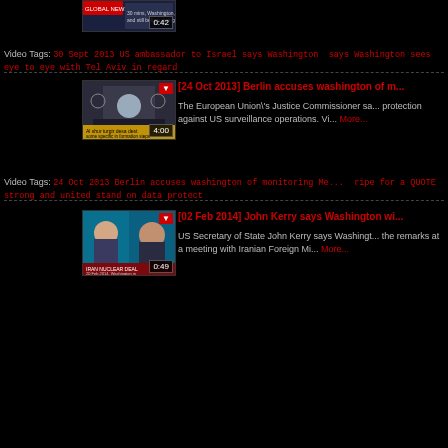[Figure (screenshot): Partial video thumbnail at top with duration 0:42]
Video Tags: 30 Sept 2013 US ambassador to Israel says Washington says Washington sees eye to eye with Tel Aviv in regard
[Figure (screenshot): Video thumbnail 4:00 - Berlin accuses washington of monitoring]
[24 Oct 2013] Berlin accuses washington of m...
The European Union's Justice Commissioner says protection against US surveillance operations. Vi... More...
Video Tags: 24 Oct 2013 Berlin accuses washington of monitoring Me... ripe for a QUOTE strong and united stand on data protect
[Figure (screenshot): Video thumbnail 0:49 - John Kerry at meeting with Iranian Foreign Minister]
[02 Feb 2014] John Kerry says Washington wi...
US Secretary of State John Kerry says Washington... the remarks at a meeting with Iranian Foreign Mi... More...